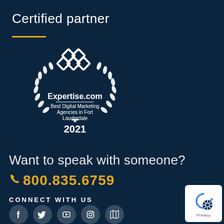Certified partner
[Figure (logo): Expertise.com award badge — Best Digital Marketing Agencies in Fort Lauderdale 2021, with laurel wreath and chain-link logo]
Want to speak with someone?
800.835.6759
CONNECT WITH US
[Figure (logo): Social media icons: Facebook, Twitter, YouTube, Instagram, and a map/book icon in circular white-tinted buttons]
[Figure (logo): Privacy settings badge with reCAPTCHA-style icon in bottom-right corner]